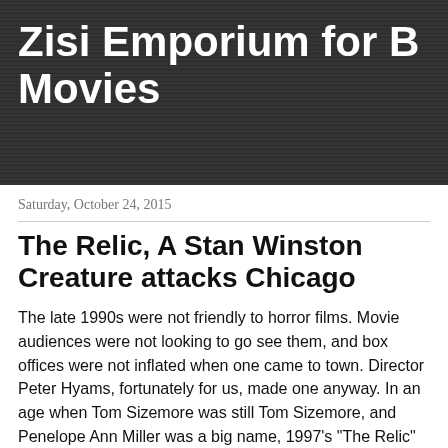Zisi Emporium for B Movies
Saturday, October 24, 2015
The Relic, A Stan Winston Creature attacks Chicago
The late 1990s were not friendly to horror films.  Movie audiences were not looking to go see them, and box offices were not inflated when one came to town.  Director Peter Hyams, fortunately for us, made one anyway.  In an age when Tom Sizemore was still Tom Sizemore, and Penelope Ann Miller was a big name, 1997's "The Relic" emerged.  This film also boasted of more big name cast members such as Linda Hunt, James Whitmore, and Audra Lindley.  Best of all, "The Relic" delivered to us, a Stan Winston creature.  Maligned in 1997, a look at this film in 2015